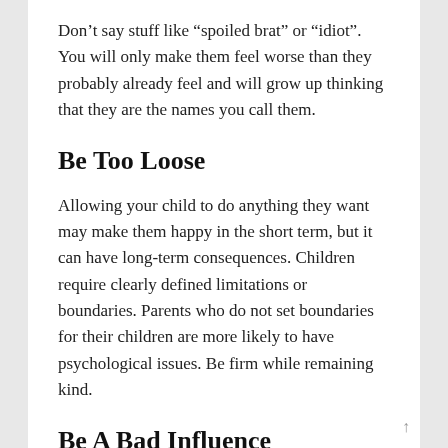Don’t say stuff like “spoiled brat” or “idiot”. You will only make them feel worse than they probably already feel and will grow up thinking that they are the names you call them.
Be Too Loose
Allowing your child to do anything they want may make them happy in the short term, but it can have long-term consequences. Children require clearly defined limitations or boundaries. Parents who do not set boundaries for their children are more likely to have psychological issues. Be firm while remaining kind.
Be A Bad Influence
For instance, if you keep ordering your child to eat